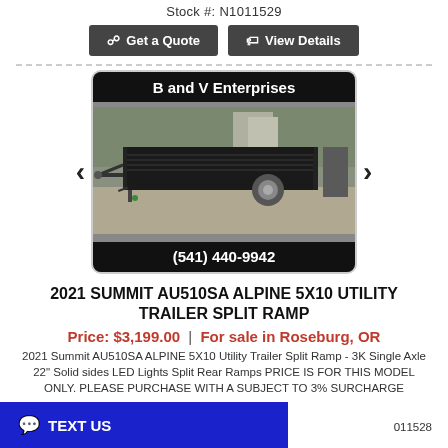Stock #: N1011529
Get a Quote | View Details
[Figure (photo): Photo of a black 2021 Summit AU510SA Alpine 5x10 utility trailer with split ramp, shown in a parking lot. Banner at top reads 'B and V Enterprises', banner at bottom reads '(541) 440-9942'.]
2021 SUMMIT AU510SA ALPINE 5X10 UTILITY TRAILER SPLIT RAMP
Price: $3,199.00 | For sale in Roseburg, OR
2021 Summit AU510SA ALPINE 5X10 Utility Trailer Split Ramp - 3K Single Axle 22" Solid sides LED Lights Split Rear Ramps PRICE IS FOR THIS MODEL ONLY. PLEASE PURCHASE WITH A SUBJECT TO 3% SURCHARGE
011528